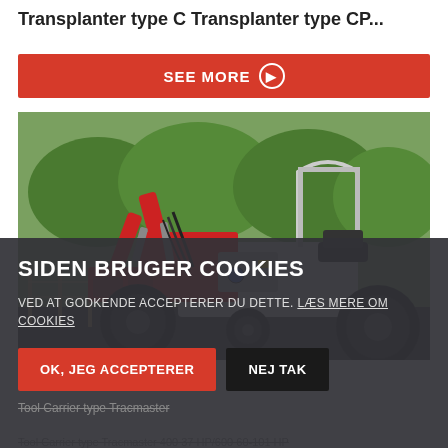Transplanter type C Transplanter type CP...
SEE MORE ▶
[Figure (photo): Red and white tool carrier / tractor with hydraulic arm attachment, parked outside near trees and chain-link fence.]
SIDEN BRUGER COOKIES
VED AT GODKENDE ACCEPTERER DU DETTE. LÆS MERE OM COOKIES
OK, JEG ACCEPTERER
NEJ TAK
Tool Carrier type Tracmaster
Tool Carrier type Tracmaster 400 37 HP/600 60-101 HP